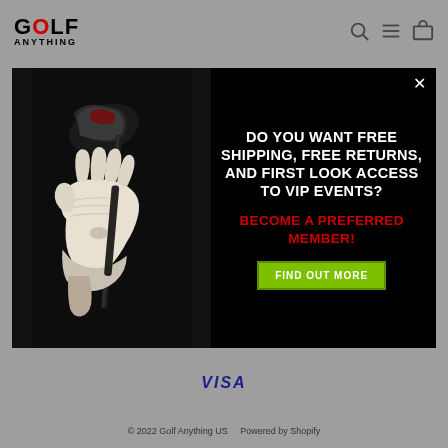GOLF ANYTHING
[Figure (screenshot): Modal popup on Golf Anything website showing a hand holding a golf club on the left side against a dark background, with promotional text on the right side offering free shipping, free returns, and first look access to VIP events for preferred members, with a 'FIND OUT MORE' button]
DO YOU WANT FREE SHIPPING, FREE RETURNS, AND FIRST LOOK ACCESS TO VIP EVENTS?
BECOME A PREFERRED MEMBER!
FIND OUT MORE
[Figure (logo): VISA logo in blue italic text]
© 2022 Golf Anything US    Powered by Shopify